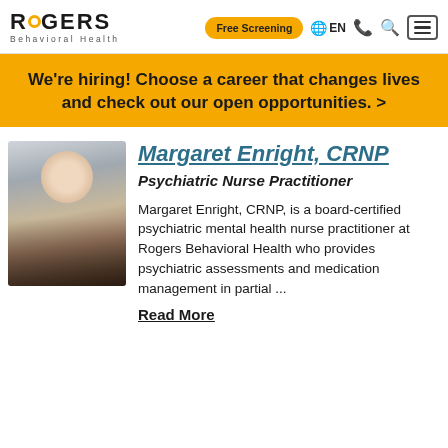Rogers Behavioral Health — Free Screening | EN
We're hiring! Choose a career that changes lives and check out our open opportunities. >
[Figure (photo): Headshot of Margaret Enright, CRNP — a woman with blonde hair in an updo, wearing glasses and a floral top, against a grey background]
Margaret Enright, CRNP
Psychiatric Nurse Practitioner
Margaret Enright, CRNP, is a board-certified psychiatric mental health nurse practitioner at Rogers Behavioral Health who provides psychiatric assessments and medication management in partial ...
Read More